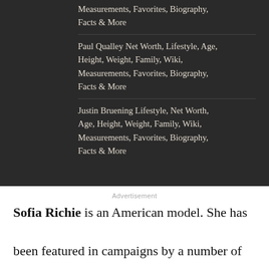Measurements, Favorites, Biography, Facts & More
Paul Qualley Net Worth, Lifestyle, Age, Height, Weight, Family, Wiki, Measurements, Favorites, Biography, Facts & More
Justin Bruening Lifestyle, Net Worth, Age, Height, Weight, Family, Wiki, Measurements, Favorites, Biography, Facts & More
Advertisement
Sofia Richie is an American model. She has been featured in campaigns by a number of